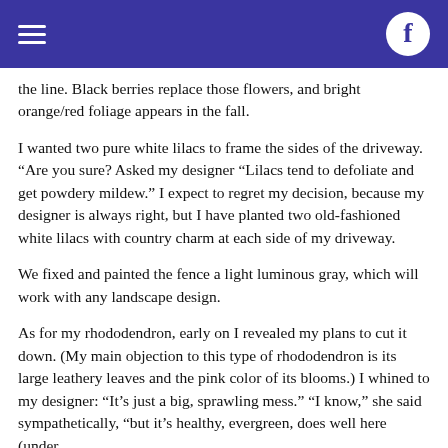the line. Black berries replace those flowers, and bright orange/red foliage appears in the fall.
I wanted two pure white lilacs to frame the sides of the driveway. “Are you sure? Asked my designer “Lilacs tend to defoliate and get powdery mildew.” I expect to regret my decision, because my designer is always right, but I have planted two old-fashioned white lilacs with country charm at each side of my driveway.
We fixed and painted the fence a light luminous gray, which will work with any landscape design.
As for my rhododendron, early on I revealed my plans to cut it down. (My main objection to this type of rhododendron is its large leathery leaves and the pink color of its blooms.) I whined to my designer: “It’s just a big, sprawling mess.” “I know,” she said sympathetically, “but it’s healthy, evergreen, does well here (under